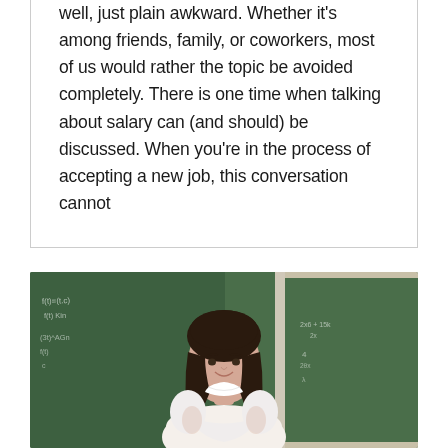well, just plain awkward. Whether it's among friends, family, or coworkers, most of us would rather the topic be avoided completely. There is one time when talking about salary can (and should) be discussed. When you're in the process of accepting a new job, this conversation cannot
[Figure (photo): A young woman with dark hair standing in front of green chalkboards in a classroom, smiling with arms crossed, wearing a white ruffled top. Mathematical formulas are written on the chalkboards behind her.]